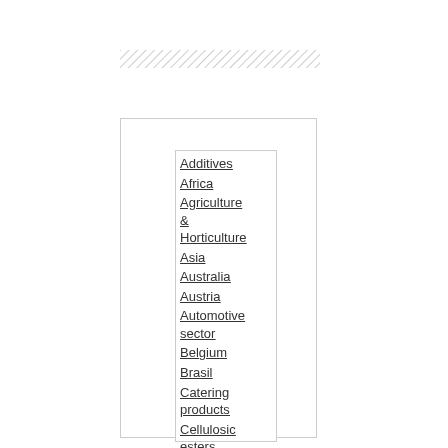[Figure (other): Hatching/diagonal lines pattern at top]
Additives
Africa
Agriculture & Horticulture
Asia
Australia
Austria
Automotive sector
Belgium
Brasil
Catering products
Cellulosic esters
China
Consulting
Denmark
Estonia